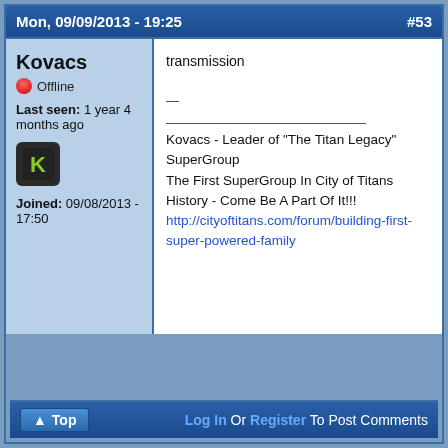Mon, 09/09/2013 - 19:25    #53
Kovacs
Offline
Last seen: 1 year 4 months ago
[Figure (logo): Green K logo icon on dark background]
Joined: 09/08/2013 - 17:50
transmission
—
Kovacs - Leader of "The Titan Legacy" SuperGroup
The First SuperGroup In City of Titans History - Come Be A Part Of It!!!
http://cityoftitans.com/forum/building-first-super-powered-family
Top    Log In Or Register To Post Comments